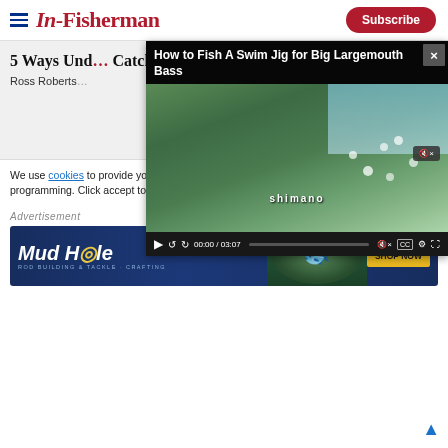In-Fisherman | Subscribe
5 Ways Und... Catch More...
Ross Roberts...
[Figure (screenshot): Video player showing 'How to Fish A Swim Jig for Big Largemouth Bass' with a man in Shimano shirt holding fishing gear, controls showing 00:00 / 03:07]
We use cookies to provide you with the best experience in Outdoors programming. Click accept to continue or read about our Privacy Policy.
Advertisement
[Figure (photo): Mud Hole Rod Building & Tackle Crafting advertisement banner with SHOP NOW button and fish image]